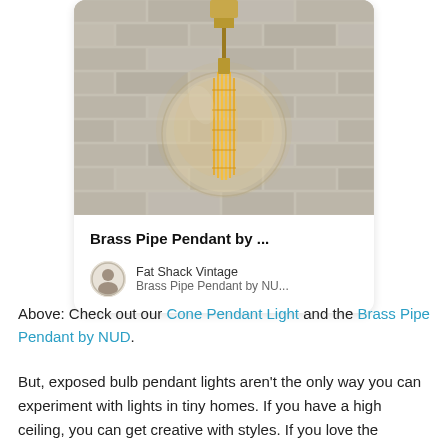[Figure (photo): Pinterest-style card showing a vintage Edison bulb (globe-shaped, with visible filament) hanging from a brass pipe fitting against a white brick wall. Below the photo is a card with a title and source attribution.]
Above: Check out our Cone Pendant Light and the Brass Pipe Pendant by NUD.
But, exposed bulb pendant lights aren't the only way you can experiment with lights in tiny homes. If you have a high ceiling, you can get creative with styles. If you love the